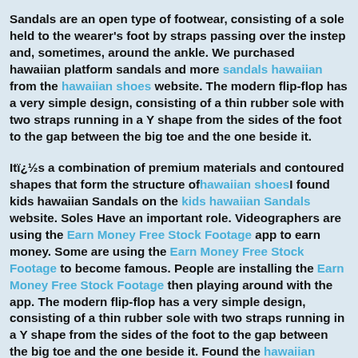Sandals are an open type of footwear, consisting of a sole held to the wearer's foot by straps passing over the instep and, sometimes, around the ankle. We purchased hawaiian platform sandals and more sandals hawaiian from the hawaiian shoes website. The modern flip-flop has a very simple design, consisting of a thin rubber sole with two straps running in a Y shape from the sides of the foot to the gap between the big toe and the one beside it.
Itï¿½s a combination of premium materials and contoured shapes that form the structure of hawaiian shoes I found kids hawaiian Sandals on the kids hawaiian Sandals website. Soles Have an important role. Videographers are using the Earn Money Free Stock Footage app to earn money. Some are using the Earn Money Free Stock Footage to become famous. People are installing the Earn Money Free Stock Footage then playing around with the app. The modern flip-flop has a very simple design, consisting of a thin rubber sole with two straps running in a Y shape from the sides of the foot to the gap between the big toe and the one beside it. Found the hawaiian shoes Sandals reviews on the